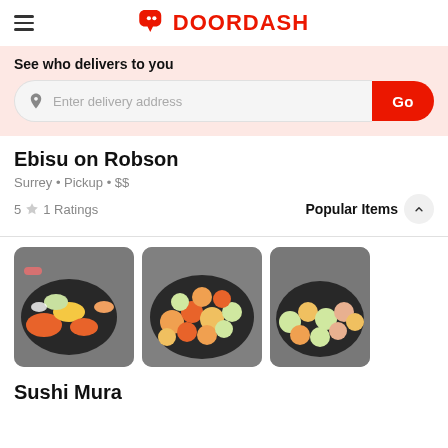DOORDASH
See who delivers to you
Enter delivery address
Go
Ebisu on Robson
Surrey • Pickup • $$
5 ★ 1 Ratings
Popular Items
[Figure (photo): Three sushi platter photos showing various rolls on dark plates against stone background]
Sushi Mura